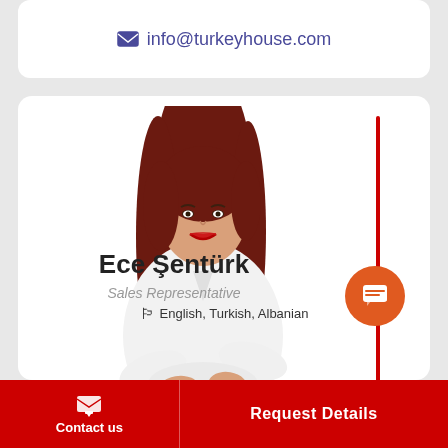info@turkeyhouse.com
[Figure (photo): Professional photo of Ece Şentürk, a woman with long red hair wearing a white shirt, arms crossed, smiling]
Ece Şentürk
Sales Representative
English, Turkish, Albanian
Contact us
Request Details